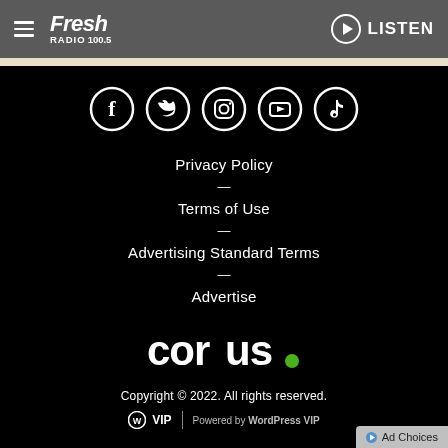Fresh Radio 100.5 — LISTEN
[Figure (illustration): Social media icons row: Facebook, Twitter, Instagram, YouTube, TikTok — white outline circles on black background]
Privacy Policy
Terms of Use
Advertising Standard Terms
Advertise
[Figure (logo): Corus logo — white text 'corus.' with green dot on black background]
Copyright © 2022. All rights reserved.
⓫VIP | Powered by WordPress VIP
▶ Ad Choices